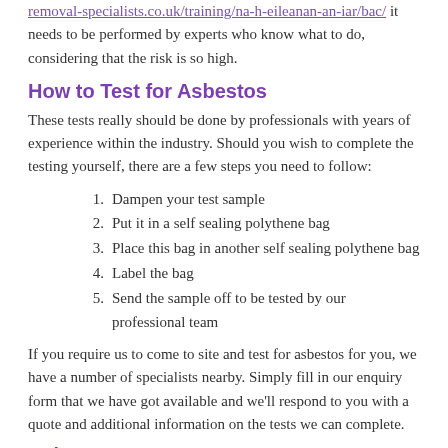removal-specialists.co.uk/training/na-h-eileanan-an-iar/bac/ it needs to be performed by experts who know what to do, considering that the risk is so high.
How to Test for Asbestos
These tests really should be done by professionals with years of experience within the industry. Should you wish to complete the testing yourself, there are a few steps you need to follow:
Dampen your test sample
Put it in a self sealing polythene bag
Place this bag in another self sealing polythene bag
Label the bag
Send the sample off to be tested by our professional team
If you require us to come to site and test for asbestos for you, we have a number of specialists nearby. Simply fill in our enquiry form that we have got available and we'll respond to you with a quote and additional information on the tests we can complete.
Asbestos Awareness Test
A significant problem is the fact that you're not able to notice you're